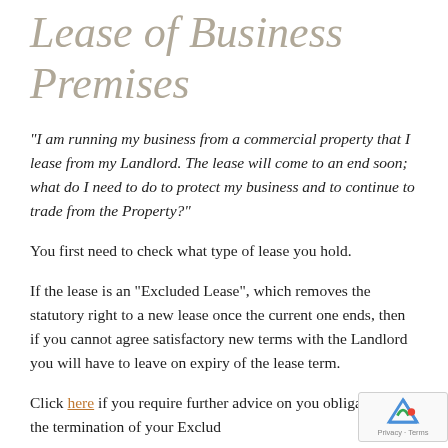Lease of Business Premises
“I am running my business from a commercial property that I lease from my Landlord. The lease will come to an end soon; what do I need to do to protect my business and to continue to trade from the Property?”
You first need to check what type of lease you hold.
If the lease is an “Excluded Lease”, which removes the statutory right to a new lease once the current one ends, then if you cannot agree satisfactory new terms with the Landlord you will have to leave on expiry of the lease term.
Click here if you require further advice on you obligations on the termination of your Exclud Lease and how you can do to protect yourself f...